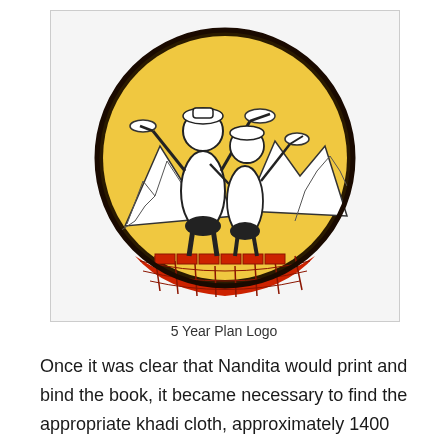[Figure (illustration): 5 Year Plan Logo: A circular emblem with a yellow/golden background showing two figures standing on a globe/earth, both blowing trumpets/bugles. Mountains are visible in the background. The bottom of the globe is red with a grid pattern. The circle has a thick black border.]
5 Year Plan Logo
Once it was clear that Nandita would print and bind the book, it became necessary to find the appropriate khadi cloth, approximately 1400